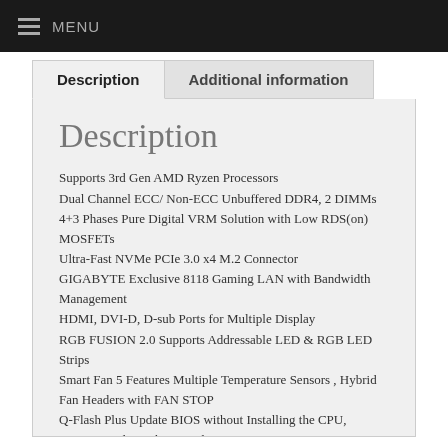MENU
Description
Additional information
Description
Supports 3rd Gen AMD Ryzen Processors
Dual Channel ECC/ Non-ECC Unbuffered DDR4, 2 DIMMs
4+3 Phases Pure Digital VRM Solution with Low RDS(on) MOSFETs
Ultra-Fast NVMe PCIe 3.0 x4 M.2 Connector
GIGABYTE Exclusive 8118 Gaming LAN with Bandwidth Management
HDMI, DVI-D, D-sub Ports for Multiple Display
RGB FUSION 2.0 Supports Addressable LED & RGB LED Strips
Smart Fan 5 Features Multiple Temperature Sensors , Hybrid Fan Headers with FAN STOP
Q-Flash Plus Update BIOS without Installing the CPU, Memory and Graphics Card